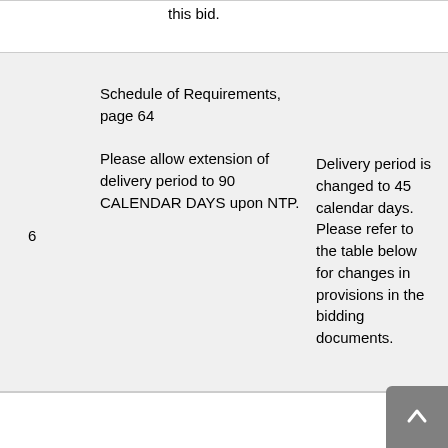this bid.
Schedule of Requirements, page 64
Please allow extension of delivery period to 90 CALENDAR DAYS upon NTP.
Delivery period is changed to 45 calendar days. Please refer to the table below for changes in provisions in the bidding documents.
Invitation to Bid, page 5, item 9 (Bid submission)
Bid submission and